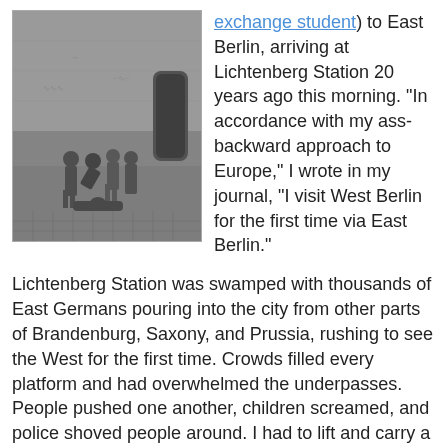[Figure (photo): Black and white photograph of several people gathered around someone on a cobblestone street, with graffiti-covered walls in the background.]
exchange student) to East Berlin, arriving at Lichtenberg Station 20 years ago this morning. "In accordance with my ass-backward approach to Europe," I wrote in my journal, "I visit West Berlin for the first time via East Berlin."
Lichtenberg Station was swamped with thousands of East Germans pouring into the city from other parts of Brandenburg, Saxony, and Prussia, rushing to see the West for the first time. Crowds filled every platform and had overwhelmed the underpasses. People pushed one another, children screamed, and police shoved people around. I had to lift and carry a stranger's child to rescue it from being trampled. My two traveling companions and I were swept along with the crowd -- there wasn't any choice in the matter -- flowing under the station hall, out onto the street, back into another entrance, and down into the subway system.